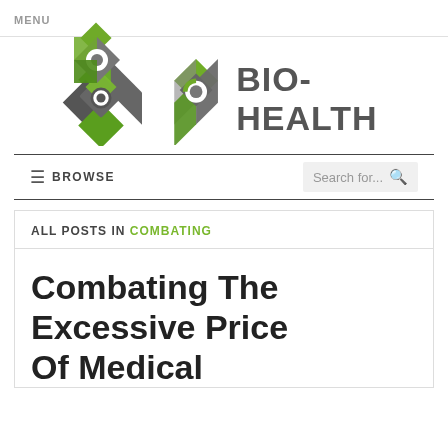MENU
[Figure (logo): Bio-Health logo with green and grey diamond/circle geometric icon and BIO-HEALTH text]
≡ BROWSE  |  Search for...
ALL POSTS IN COMBATING
Combating The Excessive Price Of Medical